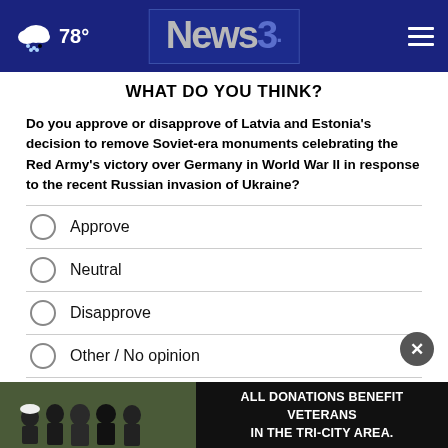78° News3 [navigation header]
WHAT DO YOU THINK?
Do you approve or disapprove of Latvia and Estonia's decision to remove Soviet-era monuments celebrating the Red Army's victory over Germany in World War II in response to the recent Russian invasion of Ukraine?
Approve
Neutral
Disapprove
Other / No opinion
NEXT *
* By clicking "NEXT" you agree to the following: We use cookies to track your... read...
ALL DONATIONS BENEFIT VETERANS IN THE TRI-CITY AREA.